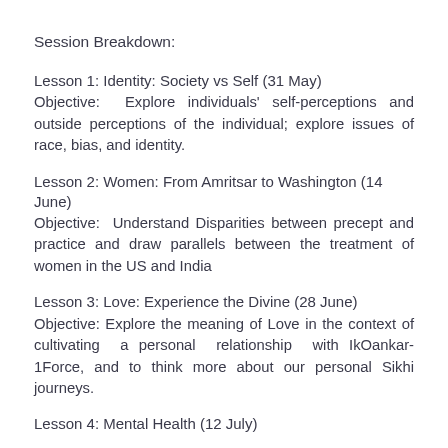Session Breakdown:
Lesson 1: Identity: Society vs Self (31 May)
Objective: Explore individuals' self-perceptions and outside perceptions of the individual; explore issues of race, bias, and identity.
Lesson 2: Women: From Amritsar to Washington (14 June)
Objective: Understand Disparities between precept and practice and draw parallels between the treatment of women in the US and India
Lesson 3: Love: Experience the Divine (28 June)
Objective: Explore the meaning of Love in the context of cultivating a personal relationship with IkOankar-1Force, and to think more about our personal Sikhi journeys.
Lesson 4: Mental Health (12 July)